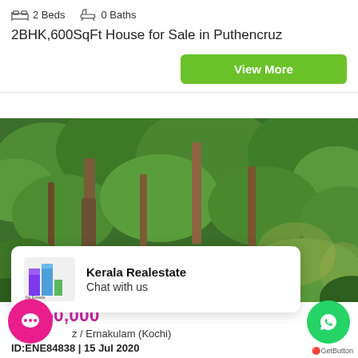2 Beds   0 Baths
2BHK,600SqFt House for Sale in Puthencruz
View More
[Figure (photo): Dense tropical forest with tall tree trunks and lush green foliage]
[Figure (logo): Kerala Realestate logo with building icon in purple and green, text: Kerala Realestate, Chat with us]
₹ 3,50,000
z / Ernakulam (Kochi)
ID:ENE84838 | 15 Jul 2020